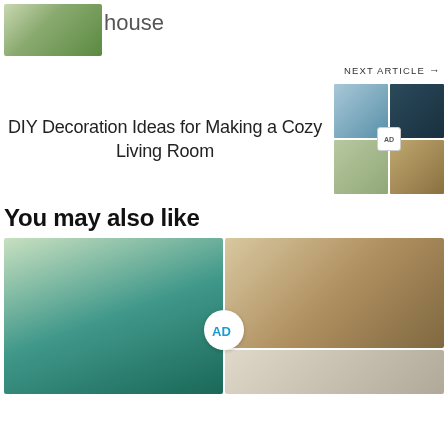[Figure (photo): Small thumbnail image of home decor with plants]
house
NEXT ARTICLE →
DIY Decoration Ideas for Making a Cozy Living Room
[Figure (photo): 2x2 grid of living room interior photos with AD badge]
You may also like
[Figure (photo): Kitchen with open shelves and teal tile backsplash]
[Figure (photo): Open plan living room and kitchen interior]
[Figure (photo): Partial view of room at bottom right]
[Figure (logo): AD logo badge]